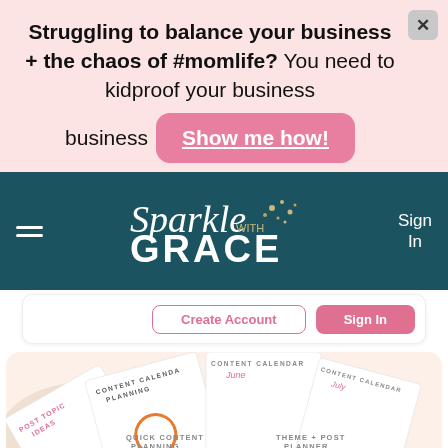Struggling to balance your business + the chaos of #momlife? You need to kidproof your business  Show me how!
[Figure (screenshot): Website screenshot of Sparkle with Grace blog. Top section shows a pink banner ad with text 'Struggling to balance your business + the chaos of #momlife? You need to kidproof your business' with a pink CTA button 'Show me how!'. Below is a teal navigation bar with hamburger menu icon on left, Sparkle with Grace logo in center (script font for Sparkle, bold caps for GRACE), and Sign In on right. Below nav is a partial content section with outline and pink buttons. Bottom shows a product image of content calendar planning sheets fanned out on a beige background.]